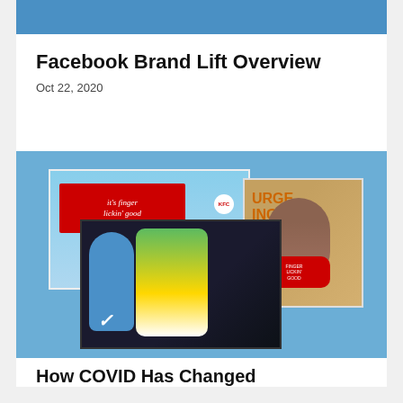Facebook Brand Lift Overview
Oct 22, 2020
[Figure (photo): Collage of three brand images: KFC billboard advertisement, Burger King branded face mask on a person, and Nike-sponsored baseball player action shot with blue-clad figure]
How COVID Has Changed